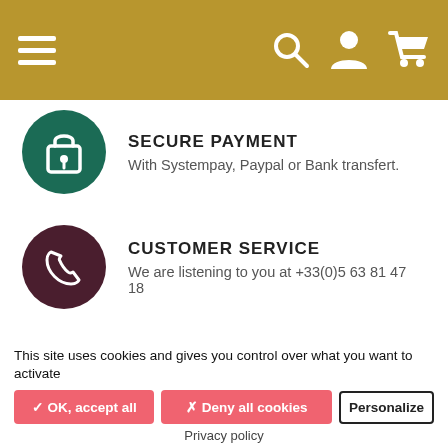[Figure (screenshot): Gold navigation bar with hamburger menu on left and search, user, cart icons on right]
SECURE PAYMENT
With Systempay, Paypal or Bank transfert.
CUSTOMER SERVICE
We are listening to you at +33(0)5 63 81 47 18
Ma Petite Mercerie sell fabric and haberdashery since 2010. A large selection of original small things , trends treasures , fantasies wonders that make life more beautiful
This site uses cookies and gives you control over what you want to activate
✓ OK, accept all
✗ Deny all cookies
Personalize
Privacy policy